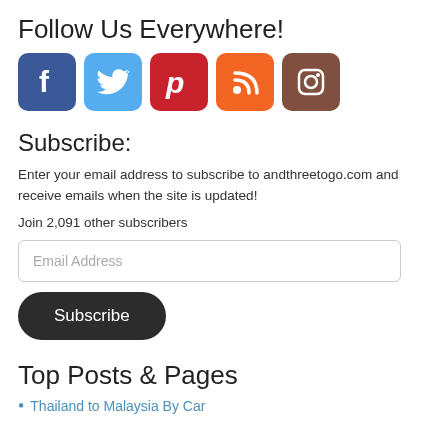Follow Us Everywhere!
[Figure (infographic): Row of 5 social media icons: Facebook (blue), Twitter (light blue), Pinterest (red), RSS feed (orange), Instagram (brown)]
Subscribe:
Enter your email address to subscribe to andthreetogo.com and receive emails when the site is updated!
Join 2,091 other subscribers
Email Address
Subscribe
Top Posts & Pages
Thailand to Malaysia By Car